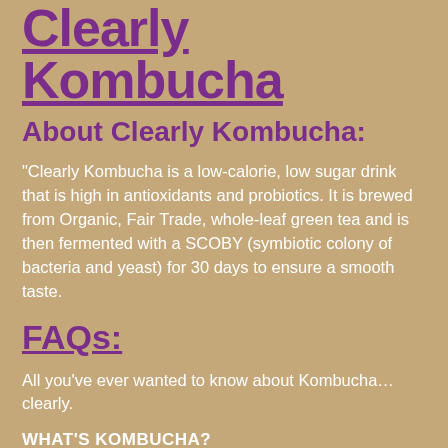Clearly Kombucha
About Clearly Kombucha:
“Clearly Kombucha is a low-calorie, low sugar drink that is high in antioxidants and probiotics. It is brewed from Organic, Fair Trade, whole-leaf green tea and is then fermented with a SCOBY (symbiotic colony of bacteria and yeast) for 30 days to ensure a smooth taste.
FAQs:
All you’ve ever wanted to know about Kombucha… clearly.
WHAT’S KOMBUCHA?